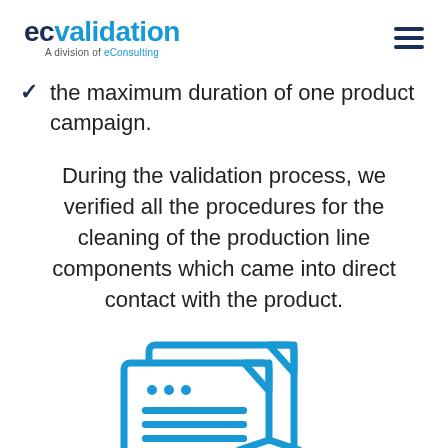ecvalidation – A division of eConsulting
the maximum duration of one product campaign.
During the validation process, we verified all the procedures for the cleaning of the production line components which came into direct contact with the product.
[Figure (illustration): Blue line-art icon of two overlapping document pages with text lines, a dog-eared corner, and a shield/badge overlay at the bottom right — representing validated documentation or certification.]